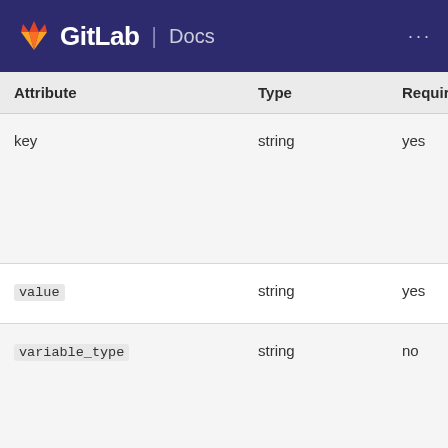GitLab | Docs
| Attribute | Type | Required | Description |
| --- | --- | --- | --- |
| key | string | yes | The key must have 255 characters, a-z, 0-... allowed |
| value | string | yes | The valu... |
| variable_type | string | no | The type ... Available: env_var, file |
| protected | boolean | no | Whether ... protected ... false |